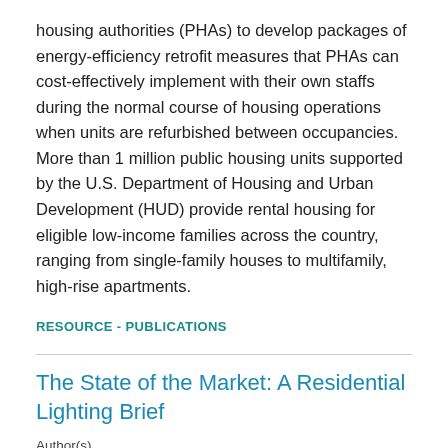housing authorities (PHAs) to develop packages of energy-efficiency retrofit measures that PHAs can cost-effectively implement with their own staffs during the normal course of housing operations when units are refurbished between occupancies. More than 1 million public housing units supported by the U.S. Department of Housing and Urban Development (HUD) provide rental housing for eligible low-income families across the country, ranging from single-family houses to multifamily, high-rise apartments.
RESOURCE - PUBLICATIONS
The State of the Market: A Residential Lighting Brief
Author(s)
Northeast Energy Efficiency Partnerships, Inc.
Publication Date
2016